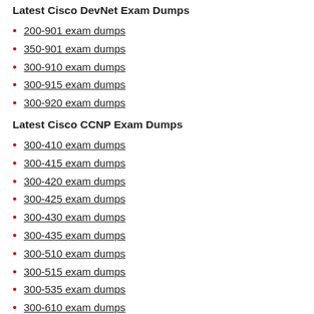Latest Cisco DevNet Exam Dumps
200-901 exam dumps
350-901 exam dumps
300-910 exam dumps
300-915 exam dumps
300-920 exam dumps
Latest Cisco CCNP Exam Dumps
300-410 exam dumps
300-415 exam dumps
300-420 exam dumps
300-425 exam dumps
300-430 exam dumps
300-435 exam dumps
300-510 exam dumps
300-515 exam dumps
300-535 exam dumps
300-610 exam dumps
300-615 exam dumps
300-620 exam dumps
300-625 exam dumps